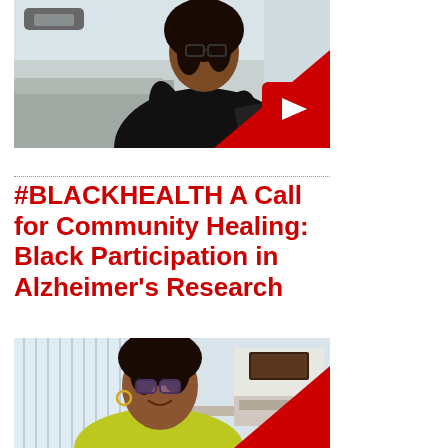[Figure (photo): Video thumbnail showing a woman in a black jacket sitting, with a red play button overlay in the bottom right corner]
#BLACKHEALTH A Call for Community Healing: Black Participation in Alzheimer's Research
[Figure (photo): Video thumbnail showing a woman with glasses and a yellow jacket smiling, with a red triangle overlay in the bottom right corner, office background with blinds]